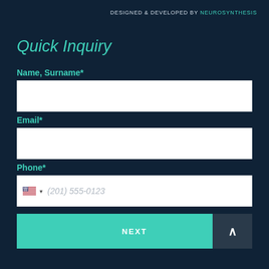DESIGNED & DEVELOPED BY NEUROSYNTHESIS
Quick Inquiry
Name, Surname*
Email*
Phone*
(201) 555-0123
NEXT